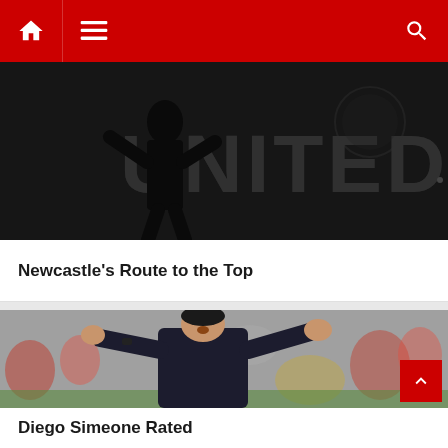Navigation bar with home, menu, and search icons
[Figure (photo): Black and white photo of a football statue in front of a wall reading 'UNITED']
Newcastle's Route to the Top
[Figure (photo): Photo of Diego Simeone, a football manager in a dark suit, gesturing with both hands raised on a football pitch with crowd in background]
Diego Simeone Rated